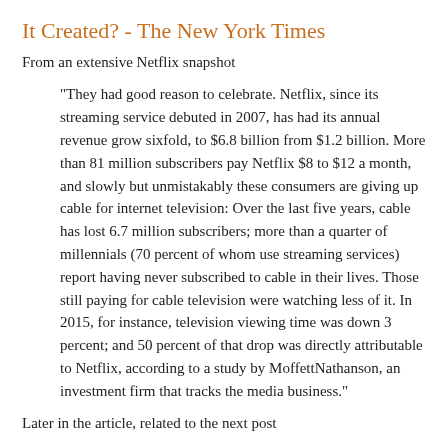It Created? - The New York Times
From an extensive Netflix snapshot
"They had good reason to celebrate. Netflix, since its streaming service debuted in 2007, has had its annual revenue grow sixfold, to $6.8 billion from $1.2 billion. More than 81 million subscribers pay Netflix $8 to $12 a month, and slowly but unmistakably these consumers are giving up cable for internet television: Over the last five years, cable has lost 6.7 million subscribers; more than a quarter of millennials (70 percent of whom use streaming services) report having never subscribed to cable in their lives. Those still paying for cable television were watching less of it. In 2015, for instance, television viewing time was down 3 percent; and 50 percent of that drop was directly attributable to Netflix, according to a study by MoffettNathanson, an investment firm that tracks the media business."
Later in the article, related to the next post
"Reed Hastings doesn’t have an office. “My